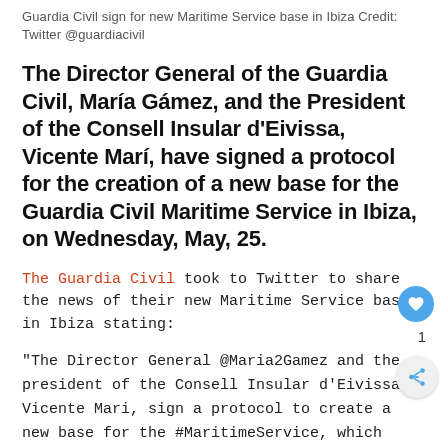Guardia Civil sign for new Maritime Service base in Ibiza Credit: Twitter @guardiacivil
The Director General of the Guardia Civil, María Gámez, and the President of the Consell Insular d’Eivissa, Vicente Marí, have signed a protocol for the creation of a new base for the Guardia Civil Maritime Service in Ibiza, on Wednesday, May, 25.
The Guardia Civil took to Twitter to share the news of their new Maritime Service base in Ibiza stating:
“The Director General @Maria2Gamez and the president of the Consell Insular d’Eivissa, Vicente Mari, sign a protocol to create a new base for the #MaritimeService, which will control maritime transport, unauthorised